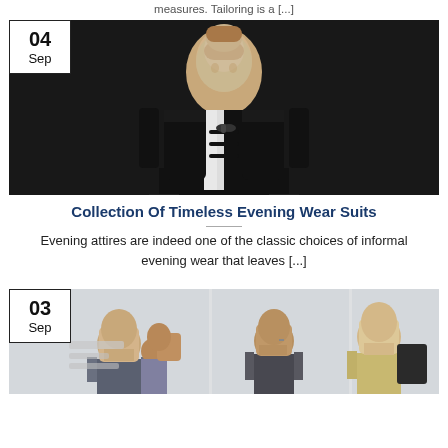measures. Tailoring is a [...]
[Figure (photo): Man in black tuxedo with bow tie against dark background, with date badge 04 Sep]
Collection Of Timeless Evening Wear Suits
Evening attires are indeed one of the classic choices of informal evening wear that leaves [...]
[Figure (photo): Group of business people in office setting, with date badge 03 Sep]